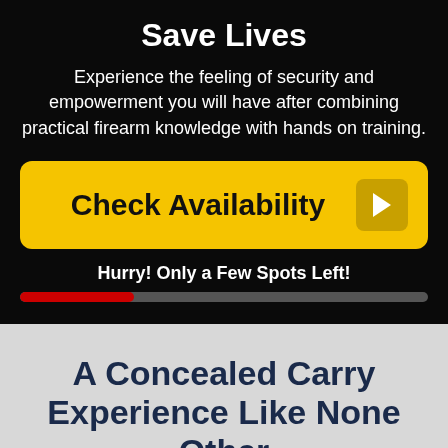Save Lives
Experience the feeling of security and empowerment you will have after combining practical firearm knowledge with hands on training.
Check Availability
Hurry! Only a Few Spots Left!
A Concealed Carry Experience Like None Other